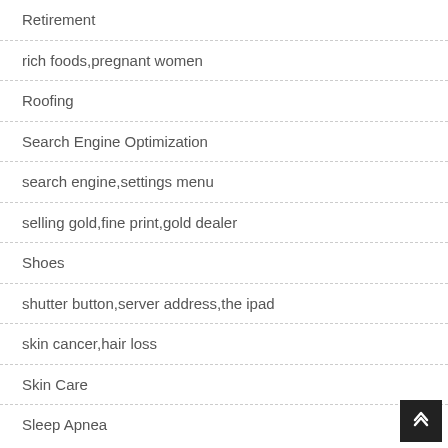Retirement
rich foods,pregnant women
Roofing
Search Engine Optimization
search engine,settings menu
selling gold,fine print,gold dealer
Shoes
shutter button,server address,the ipad
skin cancer,hair loss
Skin Care
Sleep Apnea